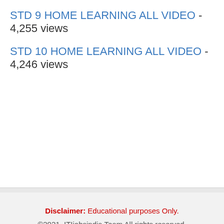STD 9 HOME LEARNING ALL VIDEO - 4,255 views
STD 10 HOME LEARNING ALL VIDEO - 4,246 views
Disclaimer: Educational purposes Only.
©2021. ITIjobsindia Team All rights reserved.